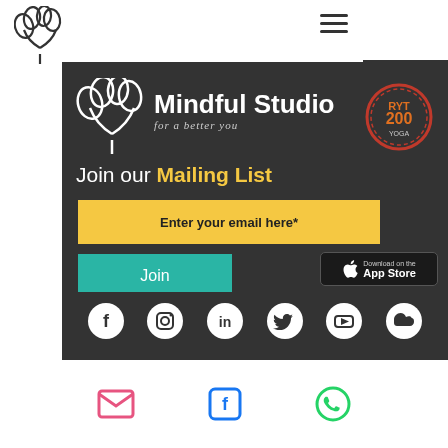[Figure (logo): Small tree/plant logo in top-left corner]
[Figure (illustration): Hamburger menu icon (three horizontal lines) in top area]
[Figure (logo): White tree/plant logo inside dark panel]
Mindful Studio
for a better you
[Figure (illustration): RYT 200 yoga certification badge, circular with orange text]
Join our Mailing List
Enter your email here*
Join
[Figure (illustration): Download on the App Store button]
[Figure (illustration): GET IT ON Google play button]
[Figure (illustration): Social media icons row: Facebook, Instagram, LinkedIn, Twitter, YouTube, SoundCloud]
[Figure (illustration): Share icons row at bottom: email/envelope, Facebook, WhatsApp]